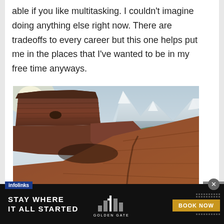able if you like multitasking. I couldn't imagine doing anything else right now. There are tradeoffs to every career but this one helps put me in the places that I've wanted to be in my free time anyways.
[Figure (photo): Landscape photo of a canyon with red rock formations and mesas in the foreground and snow-capped mountains in the background under a hazy sky]
[Figure (infographic): Advertisement banner: 'STAY WHERE IT ALL STARTED' with Golden Gate hotel logo and 'BOOK NOW' button on black background]